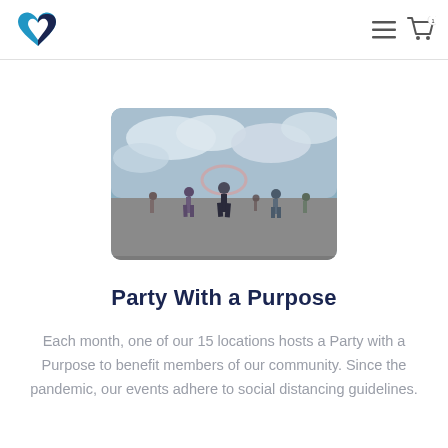Navigation header with heart logo and menu/cart icons
[Figure (photo): Outdoor community event photo showing people, including a person using a hula hoop, on a paved area under a cloudy sky]
Party With a Purpose
Each month, one of our 15 locations hosts a Party with a Purpose to benefit members of our community. Since the pandemic, our events adhere to social distancing guidelines.